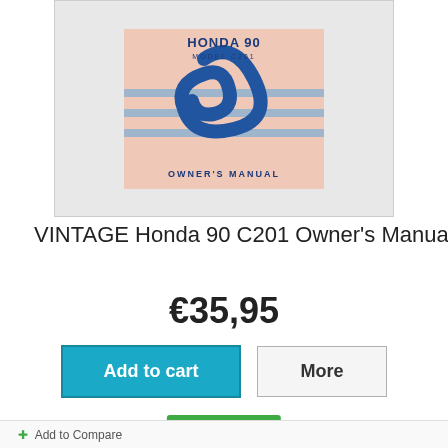[Figure (photo): Honda 90 Model C201 Owner's Manual booklet cover showing the Honda logo swirl design in blue on a pink/salmon background with the text 'HONDA 90 MODEL C201 OWNER'S MANUAL']
VINTAGE Honda 90 C201 Owner's Manual
€35,95
Add to cart
More
In Stock
Add to Compare